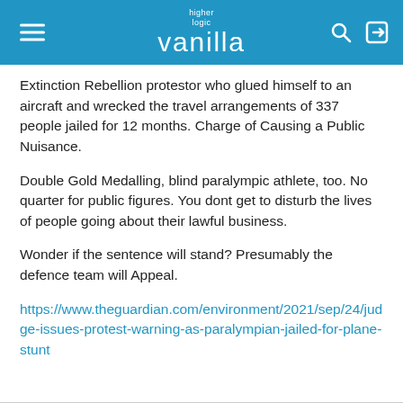higher logic vanilla
Extinction Rebellion protestor who glued himself to an aircraft and wrecked the travel arrangements of 337 people jailed for 12 months. Charge of Causing a Public Nuisance.
Double Gold Medalling, blind paralympic athlete, too. No quarter for public figures. You dont get to disturb the lives of people going about their lawful business.
Wonder if the sentence will stand? Presumably the defence team will Appeal.
https://www.theguardian.com/environment/2021/sep/24/judge-issues-protest-warning-as-paralympian-jailed-for-plane-stunt